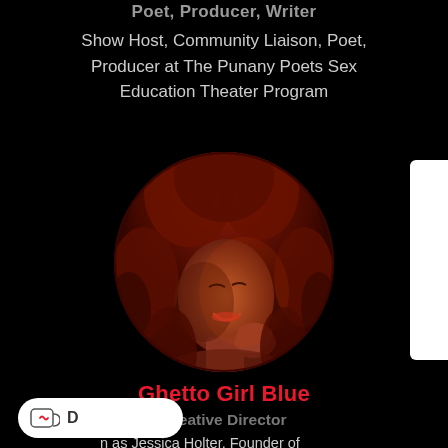Poet, Producer, Writer
Show Host, Community Liaison, Poet, Producer at The Punany Poets Sex Education Theater Program
[Figure (photo): Circular profile photo of a woman with large curly reddish hair, smiling, lit with red/warm lighting, against black background]
Ghetto Girl Blue
Creative Director
also known as Jessica Holter, Founder of The Punany Poets, Ghetto Girl Blue shares